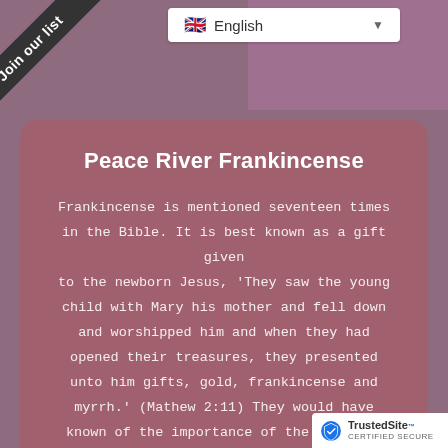Join our list
English
Peace River Frankincense
Frankincense is mentioned seventeen times in the Bible. It is best known as a gift given to the newborn Jesus, ‘They saw the young child with Mary his mother and fell down and worshipped him and when they had opened their treasures, they presented unto him gifts, gold, frankincense and myrrh.’ (Mathew 2:11) They would have known of the importance of the birth of Jesus as it was used to anoint the newborn sons of kings and priests.
[Figure (logo): TrustedSite Certified Secure badge]